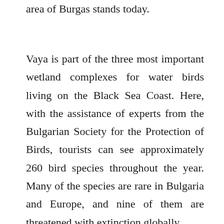area of Burgas stands today.
Vaya is part of the three most important wetland complexes for water birds living on the Black Sea Coast. Here, with the assistance of experts from the Bulgarian Society for the Protection of Birds, tourists can see approximately 260 bird species throughout the year. Many of the species are rare in Bulgaria and Europe, and nine of them are threatened with extinction globally.